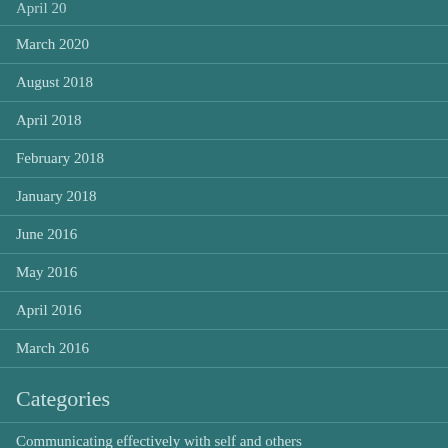April 20
March 2020
August 2018
April 2018
February 2018
January 2018
June 2016
May 2016
April 2016
March 2016
Categories
Communicating effectively with self and others